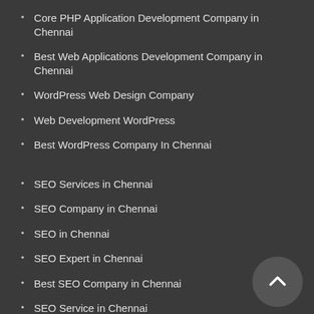Core PHP Application Development Company in Chennai
Best Web Applications Development Company in Chennai
WordPress Web Design Company
Web Development WordPress
Best WordPress Company In Chennai
SEO Services in Chennai
SEO Company in Chennai
SEO in Chennai
SEO Expert in Chennai
Best SEO Company in Chennai
SEO Service in Chennai
Top SEO Company in Chennai